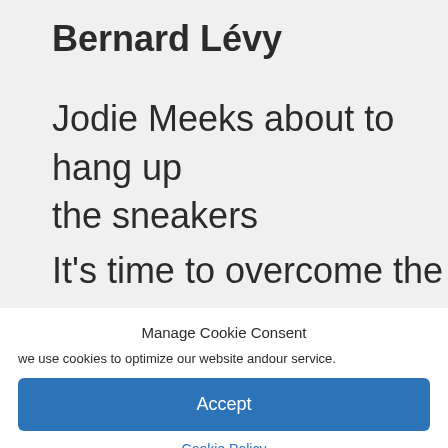Bernard Lévy
Jodie Meeks about to hang up the sneakers
It's time to overcome the
Manage Cookie Consent
we use cookies to optimize our website andour service.
Accept
Cookie Policy